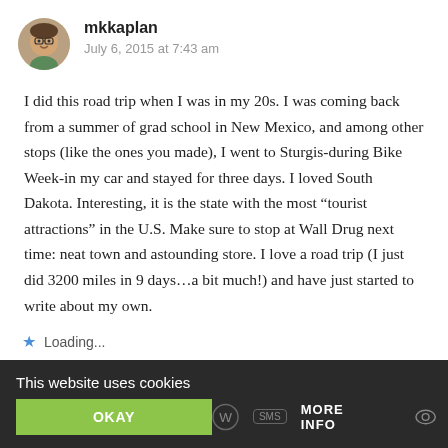mkkaplan
July 6, 2015 at 7:43 am
I did this road trip when I was in my 20s. I was coming back from a summer of grad school in New Mexico, and among other stops (like the ones you made), I went to Sturgis-during Bike Week-in my car and stayed for three days. I loved South Dakota. Interesting, it is the state with the most “tourist attractions” in the U.S. Make sure to stop at Wall Drug next time: neat town and astounding store. I love a road trip (I just did 3200 miles in 9 days...a bit much!) and have just started to write about my own.
Loading...
This website uses cookies
OKAY
MORE INFO